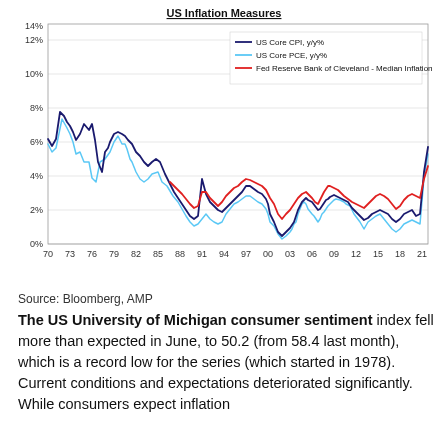[Figure (line-chart): Multi-line chart showing US inflation measures from 1970 to 2022, including US Core CPI y/y%, US Core PCE y/y%, and Fed Reserve Bank of Cleveland Median Inflation]
Source: Bloomberg, AMP
The US University of Michigan consumer sentiment index fell more than expected in June, to 50.2 (from 58.4 last month), which is a record low for the series (which started in 1978). Current conditions and expectations deteriorated significantly. While consumers expect inflation